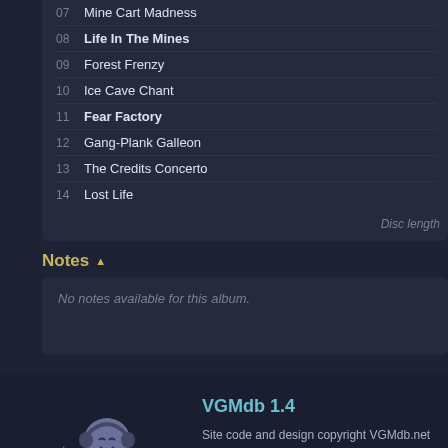07 Mine Cart Madness
08 Life In The Mines
09 Forest Frenzy
10 Ice Cave Chant
11 Fear Factory
12 Gang-Plank Galleon
13 The Credits Concerto
14 Lost Life
Disc length
Notes
No notes available for this album.
VGMdb 1.4
Site code and design copyright VGMdb.net
Site material is property of their respective owners.
All times are GMT -8. The time now is 08:22 PM...